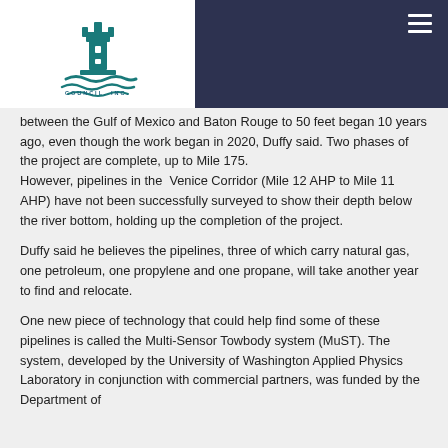[Figure (logo): Waterways Council Inc. logo with lighthouse and waves icon above text 'WATERWAYS COUNCIL, INC.']
between the Gulf of Mexico and Baton Rouge to 50 feet began 10 years ago, even though the work began in 2020, Duffy said. Two phases of the project are complete, up to Mile 175.
However, pipelines in the Venice Corridor (Mile 12 AHP to Mile 11 AHP) have not been successfully surveyed to show their depth below the river bottom, holding up the completion of the project.
Duffy said he believes the pipelines, three of which carry natural gas, one petroleum, one propylene and one propane, will take another year to find and relocate.
One new piece of technology that could help find some of these pipelines is called the Multi-Sensor Towbody system (MuST). The system, developed by the University of Washington Applied Physics Laboratory in conjunction with commercial partners, was funded by the Department of